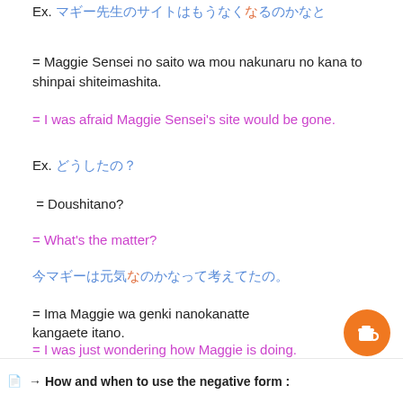Ex. [Japanese text with orange character]
= Maggie Sensei no saito wa mou nakunaru no kana to shinpai shiteimashita.
= I was afraid Maggie Sensei's site would be gone.
Ex. [Japanese text]
= Doushitano?
= What's the matter?
[Japanese text with orange character]
= Ima Maggie wa genki nanokanatte kangaete itano.
= I was just wondering how Maggie is doing.
How and when to use the negative form: